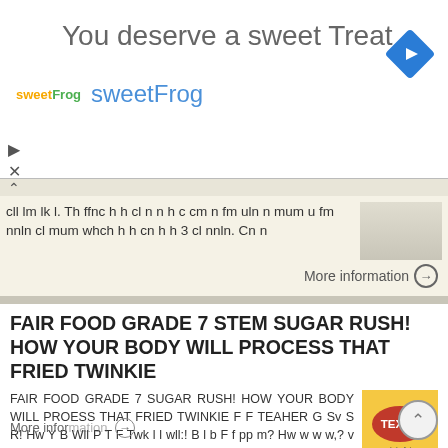[Figure (screenshot): Advertisement banner for sweetFrog with text 'You deserve a sweet Treat' and sweetFrog logo and navigation arrow diamond icon]
cll lm lk l. Th ffnc h h cl n n h c cm n fm uln n mum u fm nnln cl mum whch h h cn h h 3 cl nnln. Cn n
More information →
FAIR FOOD GRADE 7 STEM SUGAR RUSH! HOW YOUR BODY WILL PROCESS THAT FRIED TWINKIE
FAIR FOOD GRADE 7 SUGAR RUSH! HOW YOUR BODY WILL PROESS THAT FRIED TWINKIE F F TEAHER G Sv S R! Hw Y B Wll P T F Twk l l wll:! B l b F f pp m? Hw w w w,? v pp Expl w f f b. Exm w f wl p m b. wk f b xp
More information →